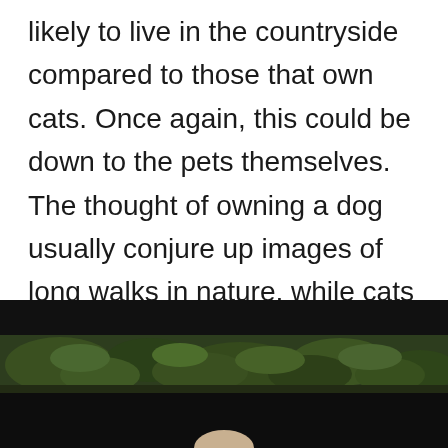likely to live in the countryside compared to those that own cats. Once again, this could be down to the pets themselves. The thought of owning a dog usually conjure up images of long walks in nature, while cats can make the perfect additions to anyone living in an apartment in the city.
[Figure (photo): A blurred outdoor photo showing dark green foliage/bushes against a dark background, partial view of an animal or person at the very bottom]